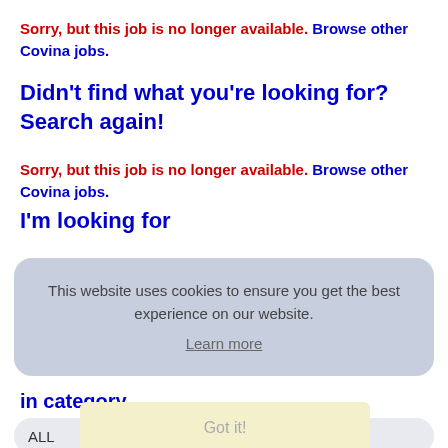Sorry, but this job is no longer available. Browse other Covina jobs.
Didn't find what you're looking for? Search again!
Sorry, but this job is no longer available. Browse other Covina jobs.
I'm looking for
[Figure (screenshot): Cookie consent overlay with text 'This website uses cookies to ensure you get the best experience on our website.' and a 'Learn more' link, overlaid on a search form with 'in category' label, ALL dropdown, 'Got it!' button, and 'within' label with '100 Miles of Covina' dropdown]